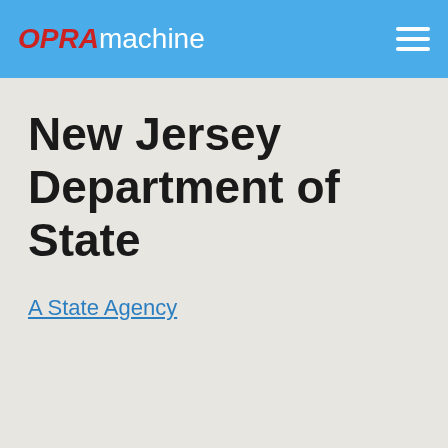OPRAmachine
New Jersey Department of State
A State Agency